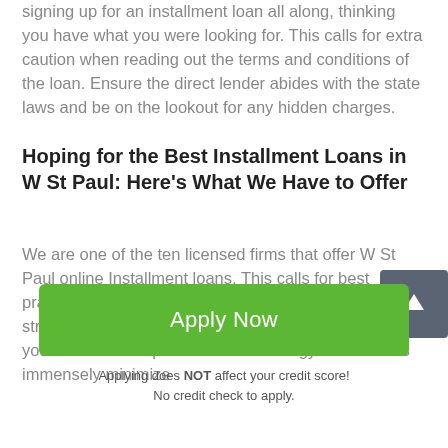signing up for an installment loan all along, thinking you have what you were looking for. This calls for extra caution when reading out the terms and conditions of the loan. Ensure the direct lender abides with the state laws and be on the lookout for any hidden charges.
Hoping for the Best Installment Loans in W St Paul: Here's What We Have to Offer
We are one of the ten licensed firms that offer W St Paul online Installment loans. This calls for best practices for customers who need money. We follow a strict pattern of data science analytics to ensure we get you the best deal possible. This strategy has seen us immensely minimize
[Figure (other): Dark gray scroll-to-top button with upward arrow icon]
Apply Now
Applying does NOT affect your credit score!
No credit check to apply.